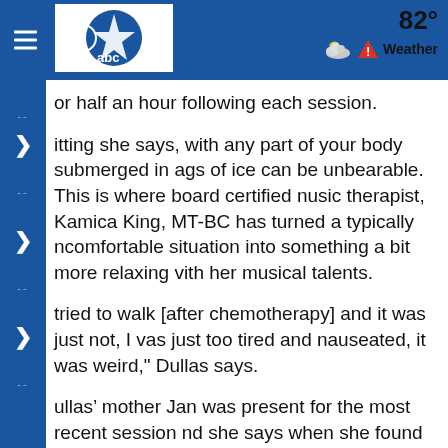82° Weather
or half an hour following each session.
itting she says, with any part of your body submerged in ags of ice can be unbearable. This is where board certified nusic therapist, Kamica King, MT-BC has turned a typically ncomfortable situation into something a bit more relaxing vith her musical talents.
tried to walk [after chemotherapy] and it was just not, I vas just too tired and nauseated, it was weird," Dullas says.
ullas' mother Jan was present for the most recent session nd she says when she found out about her daughter's ancer, she was absolutely devastated.